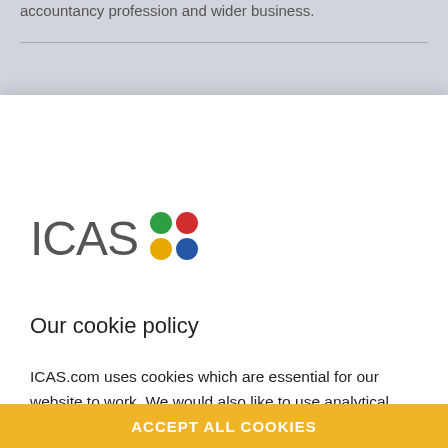accountancy profession and wider business.
[Figure (logo): ICAS logo with four colored dots (green, red, yellow, blue) arranged in a 2x2 grid next to the text 'ICAS']
Our cookie policy
ICAS.com uses cookies which are essential for our website to work. We would also like to use analytical cookies to help us improve our website and your user experience. Any data collected is anonymised. Please have a look at the further information in our cookie policy and confirm if you are happy for us to use analytical cookies:
ACCEPT ALL COOKIES